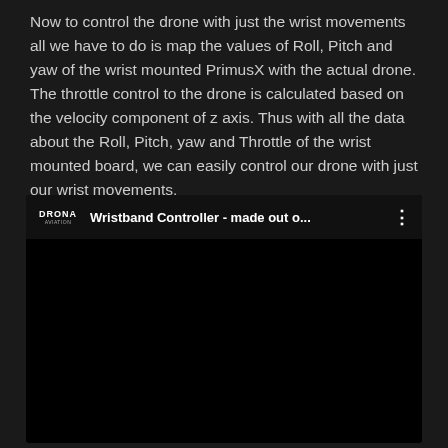Now to control the drone with just the wrist movements all we have to do is map the values of Roll, Pitch and yaw of the wrist mounted PrimusX with the actual drone. The throttle control to the drone is calculated based on the velocity component of z axis. Thus with all the data about the Roll, Pitch, yaw and Throttle of the wrist mounted board, we can easily control our drone with just our wrist movements.
[Figure (screenshot): Embedded YouTube-style video player showing a video titled 'Wristband Controller - made out o...' with Drona Aviation logo/channel icon on the left and a three-dot menu icon on the right. The video content area is black.]